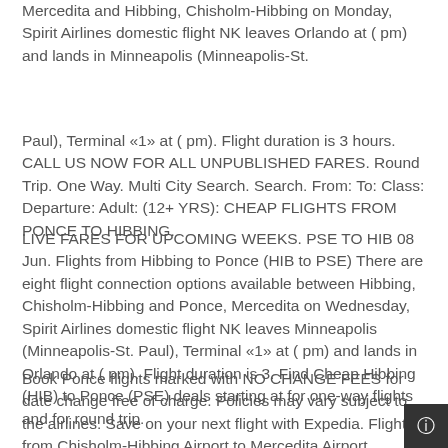Mercedita and Hibbing, Chisholm-Hibbing on Monday, Spirit Airlines domestic flight NK leaves Orlando at ( pm) and lands in Minneapolis (Minneapolis-St.
Paul), Terminal «1» at ( pm). Flight duration is 3 hours. CALL US NOW FOR ALL UNPUBLISHED FARES. Round Trip. One Way. Multi City Search. Search. From: To: Class: Departure: Adult: (12+ YRS): CHEAP FLIGHTS FROM PONCE TO HIBBING.
LIVE FARES FOR UPCOMING WEEKS. PSE TO HIB 08 Jun. Flights from Hibbing to Ponce (HIB to PSE) There are eight flight connection options available between Hibbing, Chisholm-Hibbing and Ponce, Mercedita on Wednesday, Spirit Airlines domestic flight NK leaves Minneapolis (Minneapolis-St. Paul), Terminal «1» at ( pm) and lands in Orlando at ( pm). Flight duration is 3. Find Cheap Hibbing (HIB) to Ponce (PSE) deals starting at for one-way flights and for round trip.
Book Ponce flights marked with NO CHANGE FEES for date change free of charge. Policies may vary subject to the airlines. Save on your next flight with Expedia. Flights from Chisholm-Hibbing Airport to Mercedita Airport Important: This destinatio...